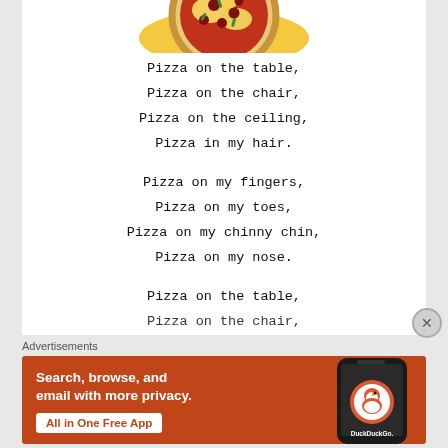[Figure (illustration): Colorful illustration of a pizza on a yellow splash background, partially cropped at top]
Pizza on the table,
Pizza on the chair,
Pizza on the ceiling,
Pizza in my hair.

Pizza on my fingers,
Pizza on my toes,
Pizza on my chinny chin,
Pizza on my nose.

Pizza on the table,
Pizza on the chair,
Advertisements
[Figure (screenshot): DuckDuckGo advertisement banner with orange background. Text: Search, browse, and email with more privacy. All in One Free App. DuckDuckGo logo with duck icon on a phone illustration.]